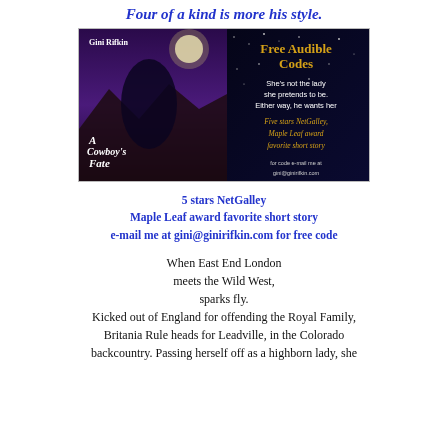Four of a kind is more his style.
[Figure (illustration): Book cover for 'A Cowboy's Fate' by Gini Rifkin, showing a couple embracing under a full moon with dark mountainous background. Right side shows dark sparkly background with text: 'Free Audible Codes', 'She's not the lady she pretends to be. Either way, he wants her', 'Five stars NetGalley, Maple Leaf award favorite short story', 'for code e-mail me at gini@ginirifkin.com']
5 stars NetGalley
Maple Leaf award favorite short story
e-mail me at gini@ginirifkin.com for free code
When East End London meets the Wild West, sparks fly.
Kicked out of England for offending the Royal Family, Britania Rule heads for Leadville, in the Colorado backcountry. Passing herself off as a highborn lady, she